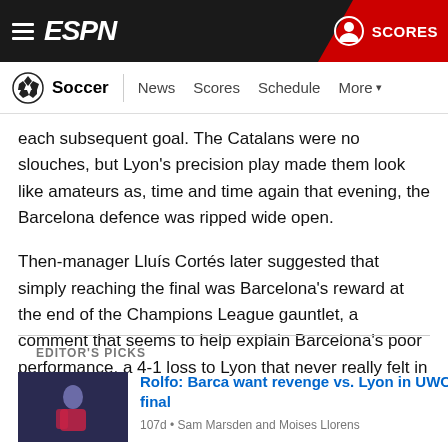ESPN Soccer — News Scores Schedule More | SCORES
each subsequent goal. The Catalans were no slouches, but Lyon's precision play made them look like amateurs as, time and time again that evening, the Barcelona defence was ripped wide open.
Then-manager Lluís Cortés later suggested that simply reaching the final was Barcelona's reward at the end of the Champions League gauntlet, a comment that seems to help explain Barcelona's poor performance, a 4-1 loss to Lyon that never really felt in doubt.
EDITOR'S PICKS
Rolfo: Barca want revenge vs. Lyon in UWCL final
107d • Sam Marsden and Moises Llorens